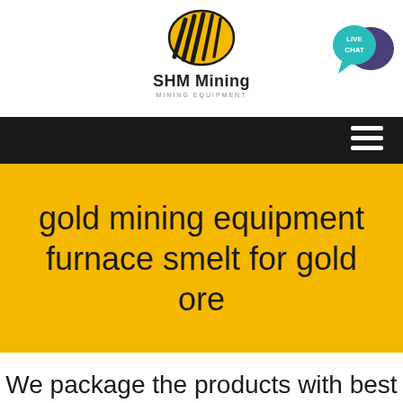[Figure (logo): SHM Mining logo — yellow oval with black diagonal stripes, text 'SHM Mining' and 'MINING EQUIPMENT' below]
[Figure (illustration): Live Chat speech bubble icon in teal/purple]
[Figure (infographic): Black navigation bar with white hamburger menu icon on the right]
gold mining equipment furnace smelt for gold ore
We package the products with best